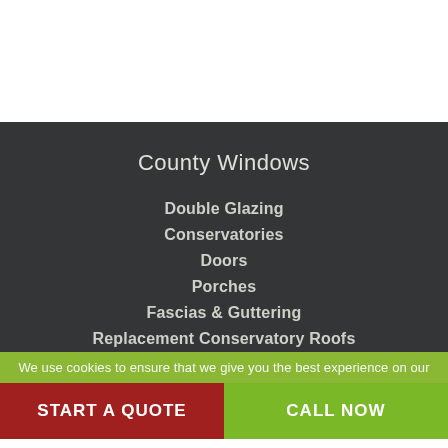County Windows
Double Glazing
Conservatories
Doors
Porches
Fascias & Guttering
Replacement Conservatory Roofs
We use cookies to ensure that we give you the best experience on our
START A QUOTE
CALL NOW